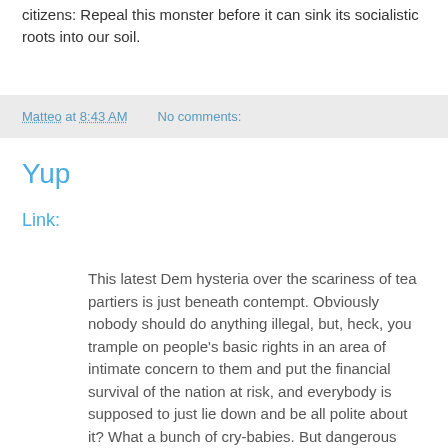citizens: Repeal this monster before it can sink its socialistic roots into our soil.
Matteo at 8:43 AM    No comments:
Yup
Link:
This latest Dem hysteria over the scariness of tea partiers is just beneath contempt. Obviously nobody should do anything illegal, but, heck, you trample on people's basic rights in an area of intimate concern to them and put the financial survival of the nation at risk, and everybody is supposed to just lie down and be all polite about it? What a bunch of cry-babies. But dangerous crybabies. They're making omelettes like crazy, breaking eggs by the gross, and when one of